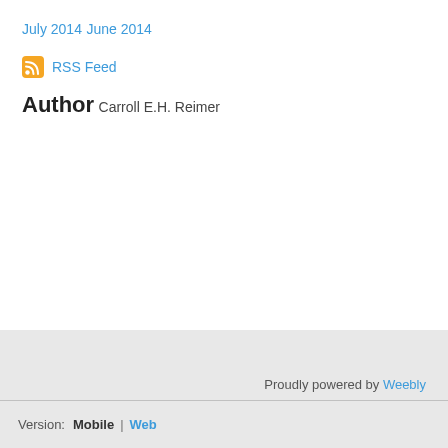July 2014
June 2014
RSS Feed
Author
Carroll E.H. Reimer
Proudly powered by Weebly
Version: Mobile | Web